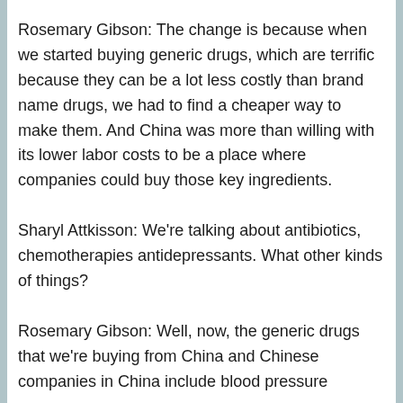Rosemary Gibson: The change is because when we started buying generic drugs, which are terrific because they can be a lot less costly than brand name drugs, we had to find a cheaper way to make them. And China was more than willing with its lower labor costs to be a place where companies could buy those key ingredients.
Sharyl Attkisson: We're talking about antibiotics, chemotherapies antidepressants. What other kinds of things?
Rosemary Gibson: Well, now, the generic drugs that we're buying from China and Chinese companies in China include blood pressure